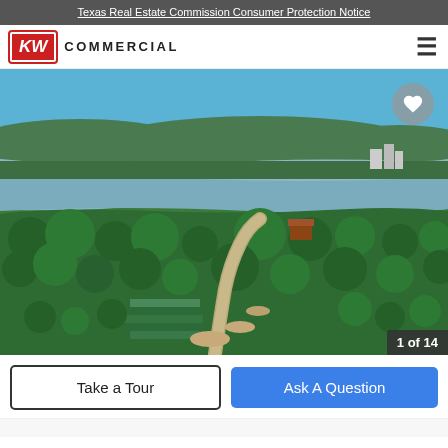Texas Real Estate Commission Consumer Protection Notice
[Figure (logo): KW Commercial logo with red KW box and COMMERCIAL text]
[Figure (photo): Aerial drone photograph of wooded land with a road, buildings with green metal roof, and a large river/lake in the background under a blue sky]
1 of 14
Take a Tour
Ask A Question